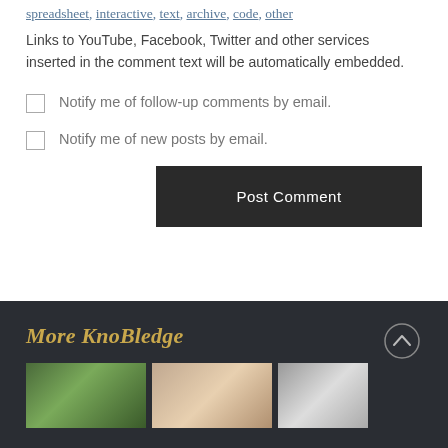spreadsheet, interactive, text, archive, code, other
Links to YouTube, Facebook, Twitter and other services inserted in the comment text will be automatically embedded.
Notify me of follow-up comments by email.
Notify me of new posts by email.
Post Comment
More KnoBledge
[Figure (photo): Three thumbnail images in a row at the bottom of the dark section]